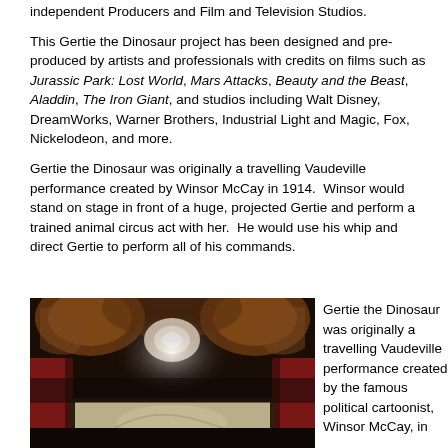independent Producers and Film and Television Studios.
This Gertie the Dinosaur project has been designed and pre-produced by artists and professionals with credits on films such as Jurassic Park: Lost World, Mars Attacks, Beauty and the Beast, Aladdin, The Iron Giant, and studios including Walt Disney, DreamWorks, Warner Brothers, Industrial Light and Magic, Fox, Nickelodeon, and more.
Gertie the Dinosaur was originally a travelling Vaudeville performance created by Winsor McCay in 1914. Winsor would stand on stage in front of a huge, projected Gertie and perform a trained animal circus act with her. He would use his whip and direct Gertie to perform all of his commands.
[Figure (photo): A dark interior photo showing what appears to be a vaudeville theater stage with arched architectural details, warm amber/gold tones, and a projected screen visible at the bottom.]
Gertie the Dinosaur was originally a travelling Vaudeville performance created by the famous political cartoonist, Winsor McCay, in